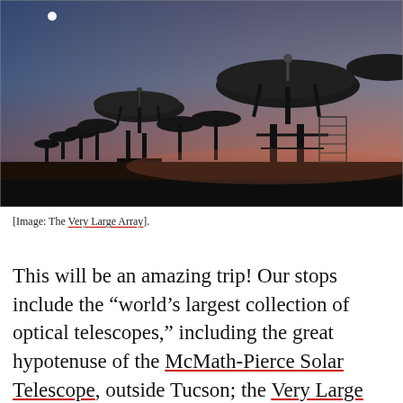[Figure (photo): Silhouettes of large radio telescope dishes against a twilight sky with blue-to-pink gradient, with a bright dot (moon or star) visible in the upper left.]
[Image: The Very Large Array].
This will be an amazing trip! Our stops include the “world’s largest collection of optical telescopes,” including the great hypotenuse of the McMath-Pierce Solar Telescope, outside Tucson; the Very Large Array in west-central New Mexico; the Controlled Environment Agriculture Center at the University of Arizona and